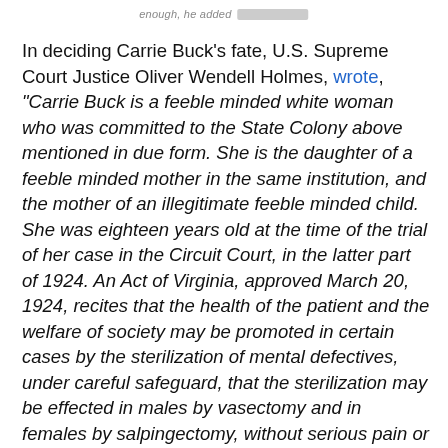enough, he added [redacted]
In deciding Carrie Buck's fate, U.S. Supreme Court Justice Oliver Wendell Holmes, wrote, "Carrie Buck is a feeble minded white woman who was committed to the State Colony above mentioned in due form. She is the daughter of a feeble minded mother in the same institution, and the mother of an illegitimate feeble minded child. She was eighteen years old at the time of the trial of her case in the Circuit Court, in the latter part of 1924. An Act of Virginia, approved March 20, 1924, recites that the health of the patient and the welfare of society may be promoted in certain cases by the sterilization of mental defectives, under careful safeguard, that the sterilization may be effected in males by vasectomy and in females by salpingectomy, without serious pain or substantial danger to life; that the Commonwealth is supporting in various